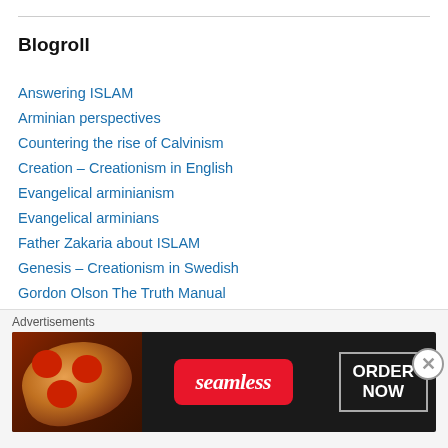Blogroll
Answering ISLAM
Arminian perspectives
Countering the rise of Calvinism
Creation – Creationism in English
Evangelical arminianism
Evangelical arminians
Father Zakaria about ISLAM
Genesis – Creationism in Swedish
Gordon Olson The Truth Manual
Jacques More Jarom Books
Jamie RA Gerrard's Blog
Jesse Morell Openairoutreach
Johannes Axelsson Newtonbloggen
Advertisements
[Figure (photo): Seamless food delivery advertisement banner showing pizza image on the left, Seamless logo in red, and ORDER NOW button on the right, on a dark background.]